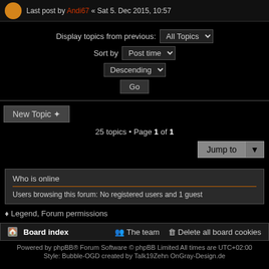Last post by Andi67 « Sat 5. Dec 2015, 10:57
Display topics from previous: All Topics
Sort by Post time
Descending
Go
New Topic
25 topics • Page 1 of 1
Jump to
Who is online
Users browsing this forum: No registered users and 1 guest
♦ Legend, Forum permissions
Board index   The team   Delete all board cookies
Powered by phpBB® Forum Software © phpBB Limited All times are UTC+02:00
Style: Bubble-OGD created by Talk19Zehn OnGray-Design.de